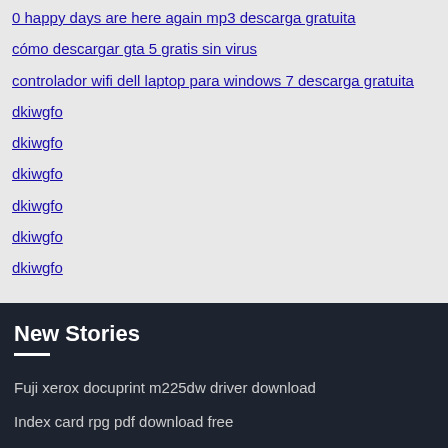0 happy days are here again mp3 descarga gratuita
cómo descargar gta 5 gratis sin virus
controlador wifi dell laptop para windows 7 descarga gratuita
dkiwgfo
dkiwgfo
dkiwgfo
dkiwgfo
dkiwgfo
dkiwgfo
New Stories
Fuji xerox docuprint m225dw driver download
Index card rpg pdf download free